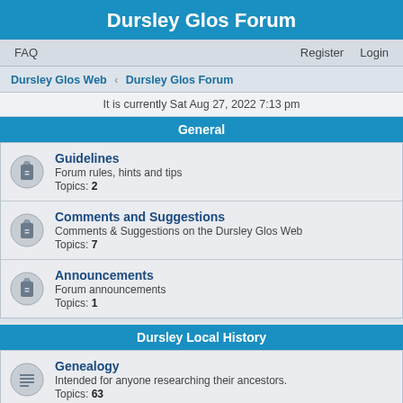Dursley Glos Forum
FAQ  Register  Login
Dursley Glos Web › Dursley Glos Forum
It is currently Sat Aug 27, 2022 7:13 pm
General
Guidelines
Forum rules, hints and tips
Topics: 2
Comments and Suggestions
Comments & Suggestions on the Dursley Glos Web
Topics: 7
Announcements
Forum announcements
Topics: 1
Dursley Local History
Genealogy
Intended for anyone researching their ancestors.
Topics: 63
Old photographs of the Dursley area
Have a photo of old Dursley to share? Post here to see if anyone can add